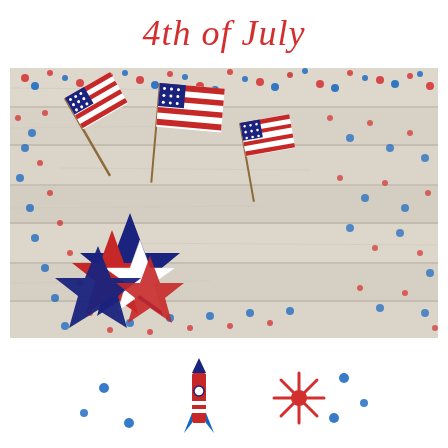4th of July
[Figure (photo): Overhead photo of mini American flags, red, white and blue paper stars, and red and blue confetti sprinkles scattered on a rustic white-washed wood surface]
[Figure (illustration): 4th of July fireworks rocket and starburst illustration with red and blue confetti dots, in red and blue colors]